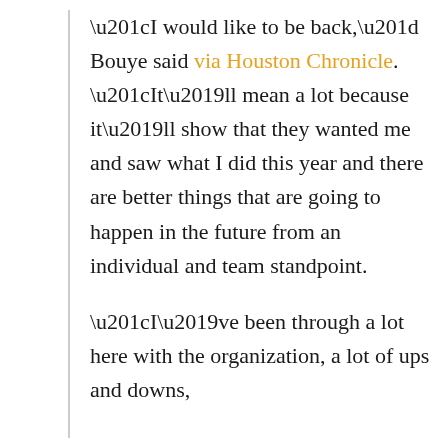“I would like to be back,” Bouye said via Houston Chronicle. “It’ll mean a lot because it’ll show that they wanted me and saw what I did this year and there are better things that are going to happen in the future from an individual and team standpoint.

“I’ve been through a lot here with the organization, a lot of ups and downs,